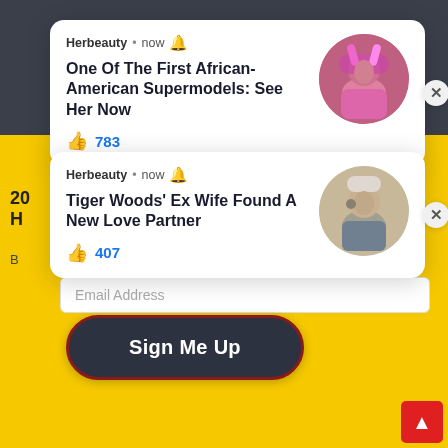[Figure (screenshot): First notification card from Herbeauty: 'One Of The First African-American Supermodels: See Her Now' with 783 likes, showing a woman in pink with colorful hair. Has close X button on right.]
[Figure (screenshot): Second notification card from Herbeauty: 'Tiger Woods' Ex Wife Found A New Love Partner' with 407 likes, showing a couple. Has close X button on right.]
Email Address
Sign Me Up